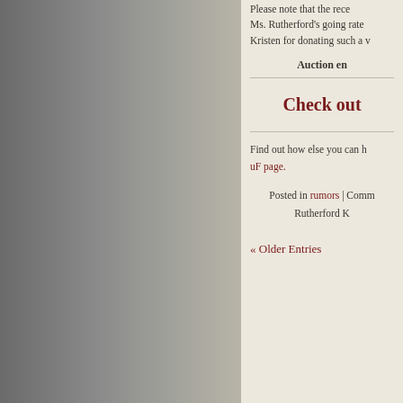Please note that the recent… Ms. Rutherford's going rate… Kristen for donating such a v…
Auction en…
Check out
Find out how else you can h… uF page.
Posted in rumors | Comm… Rutherford K…
« Older Entries